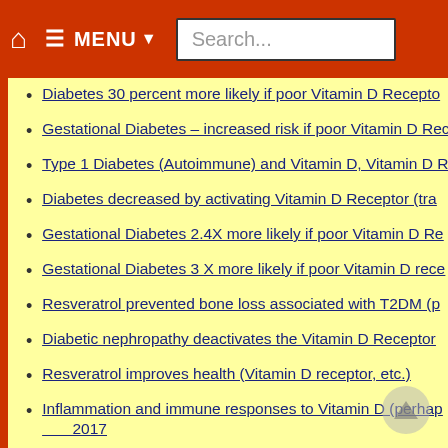MENU | Search...
Diabetes 30 percent more likely if poor Vitamin D Recepto...
Gestational Diabetes – increased risk if poor Vitamin D Rec...
Type 1 Diabetes (Autoimmune) and Vitamin D, Vitamin D R...
Diabetes decreased by activating Vitamin D Receptor (tra...
Gestational Diabetes 2.4X more likely if poor Vitamin D Re...
Gestational Diabetes 3 X more likely if poor Vitamin D rece...
Resveratrol prevented bone loss associated with T2DM (p...
Diabetic nephropathy deactivates the Vitamin D Receptor...
Resveratrol improves health (Vitamin D receptor, etc.)
Inflammation and immune responses to Vitamin D (perhap... 2017
Type 1 Diabetes 14 percent more likely with 2 Vitamin D R...